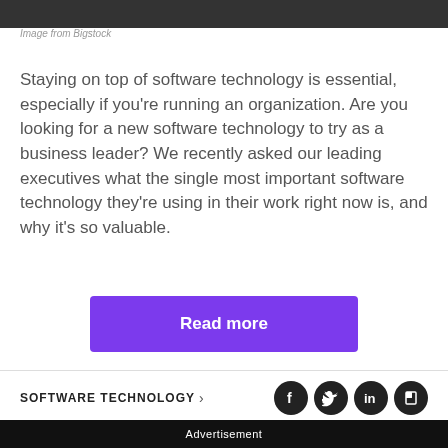[Figure (photo): Dark photo strip at top of page (partial image)]
Image from Bigstock
Staying on top of software technology is essential, especially if you're running an organization. Are you looking for a new software technology to try as a business leader? We recently asked our leading executives what the single most important software technology they're using in their work right now is, and why it's so valuable.
Read more
SOFTWARE TECHNOLOGY
Advertisement